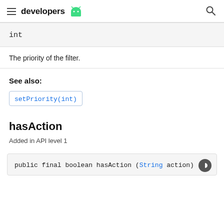developers
int
The priority of the filter.
See also:
setPriority(int)
hasAction
Added in API level 1
public final boolean hasAction (String action)